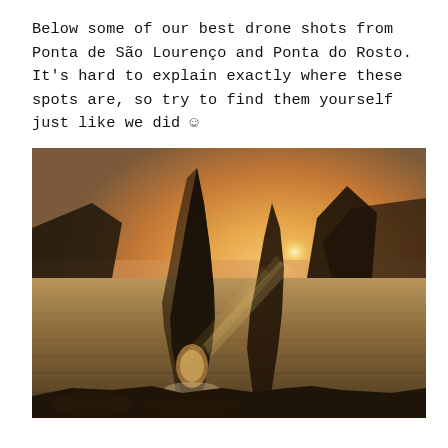Below some of our best drone shots from Ponta de São Lourenço and Ponta do Rosto. It's hard to explain exactly where these spots are, so try to find them yourself just like we did ☺
[Figure (photo): Drone photo of dramatic coastal rock formations at Ponta de São Lourenço / Ponta do Rosto, Madeira. A tall jagged sea stack with a natural arch at its base is silhouetted against a warm golden sunset sky. Rays of light beam through the arch and between the rocks, illuminating ocean spray and waves crashing around the dark rocky outcrops. The sea is dark and textured in the foreground.]